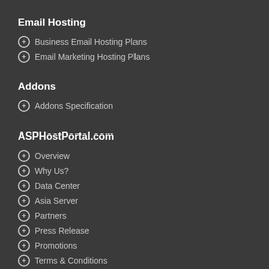Email Hosting
Business Email Hosting Plans
Email Marketing Hosting Plans
Addons
Addons Specification
ASPHostPortal.com
Overview
Why Us?
Data Center
Asia Server
Partners
Press Release
Promotions
Terms & Conditions
Service Level Agreement
Privacy Policy